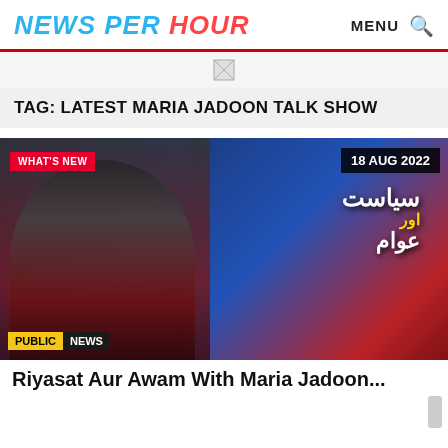NEWS PER HOUR — MENU
TAG: LATEST MARIA JADOON TALK SHOW
[Figure (photo): Article thumbnail showing a female news anchor in a red blazer in a TV studio with Pakistani Urdu talk show branding 'Siyasat Aur Awam' and Public News channel logo. Date badge shows 18 AUG 2022. Red badge shows WHAT'S NEW.]
Riyasat Aur Awam With Maria Jadoon...